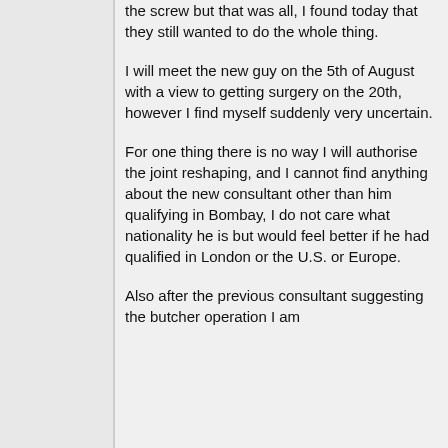the screw but that was all, I found today that they still wanted to do the whole thing.
I will meet the new guy on the 5th of August with a view to getting surgery on the 20th, however I find myself suddenly very uncertain.
For one thing there is no way I will authorise the joint reshaping, and I cannot find anything about the new consultant other than him qualifying in Bombay, I do not care what nationality he is but would feel better if he had qualified in London or the U.S. or Europe.
Also after the previous consultant suggesting the butcher operation I am